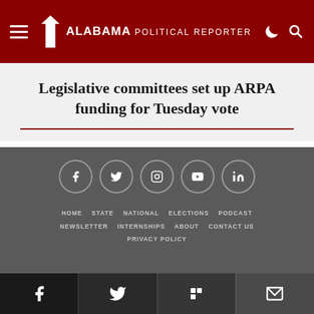Alabama Political Reporter
Legislative committees set up ARPA funding for Tuesday vote
[Figure (other): Social media icons (Facebook, Twitter, Instagram, YouTube, LinkedIn) in circles on dark gray background]
HOME  STATE  NATIONAL  ELECTIONS  PODCAST  NEWSLETTER  INTERNSHIPS  ABOUT  CONTACT US  PRIVACY POLICY
[Figure (other): Bottom share bar with Facebook, Twitter, Flipboard, and Email share buttons]